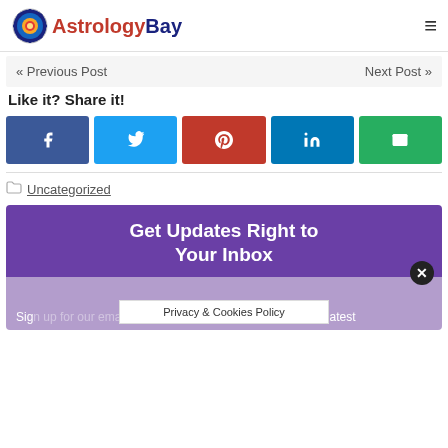AstrologyBay
« Previous Post
Next Post »
Like it? Share it!
[Figure (infographic): Social share buttons: Facebook, Twitter, Pinterest, LinkedIn, Email]
Uncategorized
Get Updates Right to Your Inbox
Sign up for our email newsletter to receive the latest and greatest
Privacy & Cookies Policy